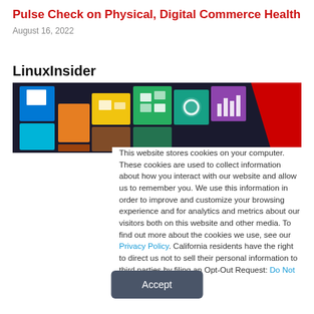Pulse Check on Physical, Digital Commerce Health
August 16, 2022
LinuxInsider
[Figure (photo): Colorful tiles resembling Windows Metro style interface with app icons on a dark background]
This website stores cookies on your computer. These cookies are used to collect information about how you interact with our website and allow us to remember you. We use this information in order to improve and customize your browsing experience and for analytics and metrics about our visitors both on this website and other media. To find out more about the cookies we use, see our Privacy Policy. California residents have the right to direct us not to sell their personal information to third parties by filing an Opt-Out Request: Do Not Sell My Personal Info.
Accept